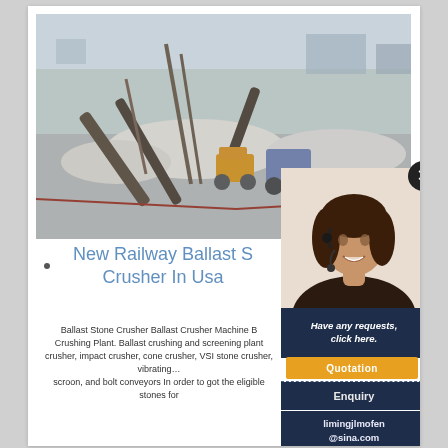[Figure (photo): Aerial view of a stone crushing plant with conveyor belts, machinery, stockpiles of crushed stone, and yellow earth-moving equipment at an industrial site. Overlay shows a customer service representative (woman with headset) in the bottom-right corner.]
New Railway Ballast Stone Crusher In Usa
Ballast Stone Crusher Ballast Crusher Machine Ballast Crushing Plant. Ballast crushing and screening plant, crusher, impact crusher, cone crusher, VSI stone crusher, vibrating... scroon, and bolt conveyors In order to got the eligible stones for